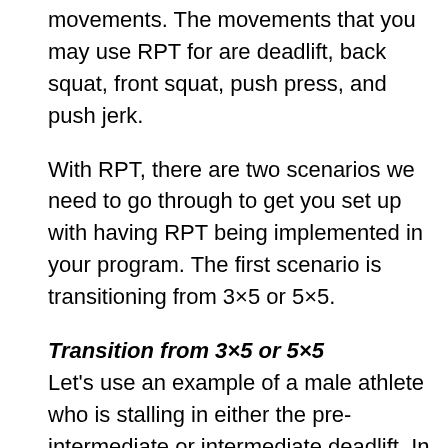movements. The movements that you may use RPT for are deadlift, back squat, front squat, push press, and push jerk.
With RPT, there are two scenarios we need to go through to get you set up with having RPT being implemented in your program. The first scenario is transitioning from 3×5 or 5×5.
Transition from 3×5 or 5×5
Let's use an example of a male athlete who is stalling in either the pre-intermediate or intermediate deadlift. In his last two deadlift workouts, he was unable to complete a 3×5 at